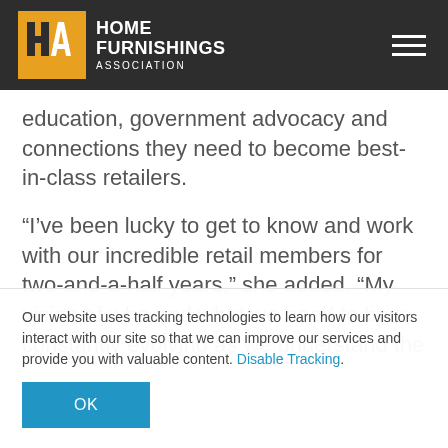Home Furnishings Association
education, government advocacy and connections they need to become best-in-class retailers.
“I’ve been lucky to get to know and work with our incredible retail members for two-and-a-half years,” she added. “My vision of who and what we need to be is constantly evolving as we understand the
Our website uses tracking technologies to learn how our visitors interact with our site so that we can improve our services and provide you with valuable content. Disable Tracking.